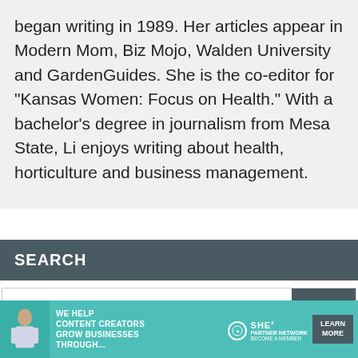began writing in 1989. Her articles appear in Modern Mom, Biz Mojo, Walden University and GardenGuides. She is the co-editor for "Kansas Women: Focus on Health." With a bachelor's degree in journalism from Mesa State, Li enjoys writing about health, horticulture and business management.
SEARCH
Search...
[Figure (infographic): Advertisement banner for SHE Partner Network with text: WE HELP CONTENT CREATORS GROW BUSINESSES THROUGH... SHE PARTNER NETWORK BECOME A MEMBER, with a LEARN MORE button]